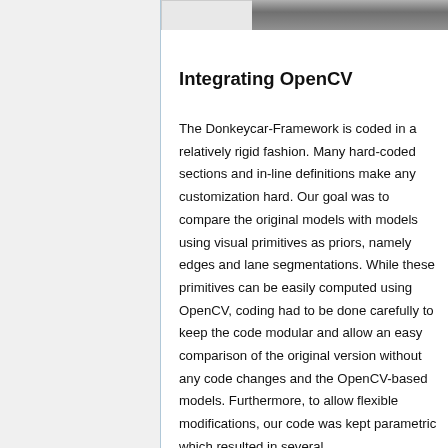[Figure (photo): Partial view of two images at the top of the page — left portion shows a light/white area, right portion shows a dark outdoor/road scene]
Integrating OpenCV
The Donkeycar-Framework is coded in a relatively rigid fashion. Many hard-coded sections and in-line definitions make any customization hard. Our goal was to compare the original models with models using visual primitives as priors, namely edges and lane segmentations. While these primitives can be easily computed using OpenCV, coding had to be done carefully to keep the code modular and allow an easy comparison of the original version without any code changes and the OpenCV-based models. Furthermore, to allow flexible modifications, our code was kept parametric which resulted in several